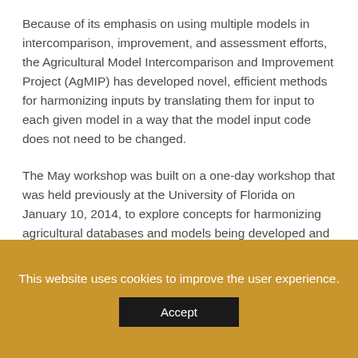Because of its emphasis on using multiple models in intercomparison, improvement, and assessment efforts, the Agricultural Model Intercomparison and Improvement Project (AgMIP) has developed novel, efficient methods for harmonizing inputs by translating them for input to each given model in a way that the model input code does not need to be changed.
The May workshop was built on a one-day workshop that was held previously at the University of Florida on January 10, 2014, to explore concepts for harmonizing agricultural databases and models being developed and used by various USDA research projects and by AgMIP. Participants in that workshop included researchers and leaders from many of the USDA-NIFA
This website uses cookies to improve the user experience.
Accept